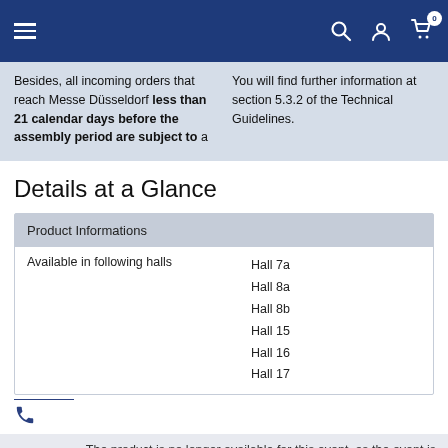Navigation bar with hamburger menu, search, account, and cart (badge: 0)
Besides, all incoming orders that reach Messe Düsseldorf less than 21 calendar days before the assembly period are subject to a
You will find further information at section 5.3.2 of the Technical Guidelines.
Details at a Glance
| Product Informations |  |
| --- | --- |
| Available in following halls | Hall 7a
Hall 8a
Hall 8b
Hall 15
Hall 16
Hall 17 |
The product is no longer available for this event, as the event is finished.
€1,612.64 / PC